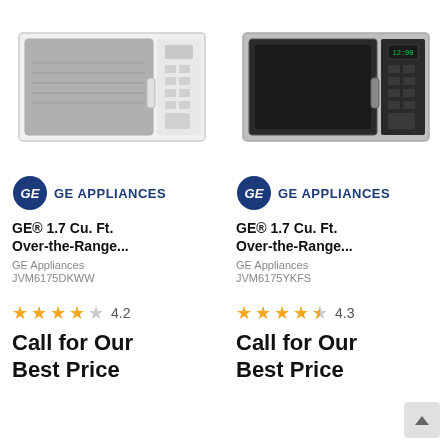[Figure (photo): White GE over-the-range microwave oven]
[Figure (photo): Stainless steel GE over-the-range microwave oven]
[Figure (logo): GE Appliances logo]
[Figure (logo): GE Appliances logo]
GE® 1.7 Cu. Ft. Over-the-Range...
GE® 1.7 Cu. Ft. Over-the-Range...
GE Appliances
JVM6175DKWW
GE Appliances
JVM6175YKFS
4.2
4.3
Call for Our
Best Price
Call for Our
Best Price